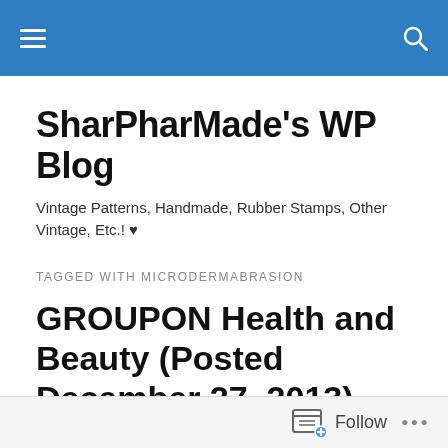SharPharMade's WP Blog [navigation bar with hamburger menu and search icon]
SharPharMade's WP Blog
Vintage Patterns, Handmade, Rubber Stamps, Other Vintage, Etc.! ♥
TAGGED WITH MICRODERMABRASION
GROUPON Health and Beauty (Posted December 27, 2013).
ProSonic Cleansing Brush Set with 4 Brush Heads, Cleanser, & Microderm Cream. Multiple Colors Available. Free Retur
Follow ...